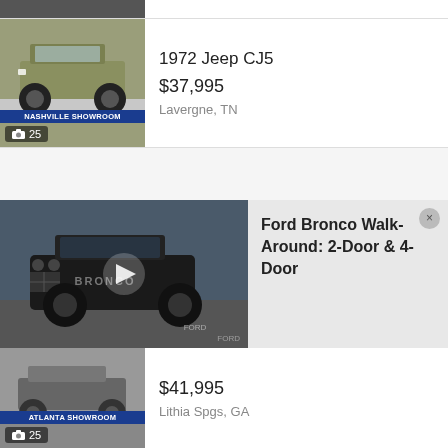[Figure (photo): Top partial listing image, cut off at top]
[Figure (photo): 1972 Jeep CJ5 green off-road vehicle, Nashville Showroom, 25 photos]
1972 Jeep CJ5
$37,995
Lavergne, TN
[Figure (other): Empty ad placeholder section]
[Figure (photo): 2007 Jeep Wrangler Coming Soon stamp image]
2007 Jeep Wrangler
[Figure (photo): Ford Bronco video thumbnail showing dark Ford Bronco at auto show]
Ford Bronco Walk-Around: 2-Door & 4-Door
[Figure (photo): Bottom partial listing image, Atlanta Showroom, 25 photos]
$41,995
Lithia Spgs, GA